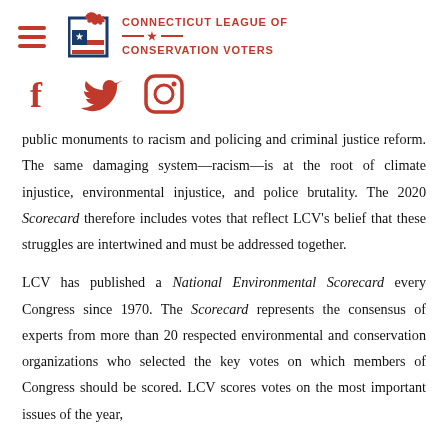Connecticut League of Conservation Voters
[Figure (logo): Connecticut League of Conservation Voters logo with bird and US flag imagery, plus Facebook, Twitter, and Instagram social media icons in red]
public monuments to racism and policing and criminal justice reform. The same damaging system—racism—is at the root of climate injustice, environmental injustice, and police brutality. The 2020 Scorecard therefore includes votes that reflect LCV's belief that these struggles are intertwined and must be addressed together.
LCV has published a National Environmental Scorecard every Congress since 1970. The Scorecard represents the consensus of experts from more than 20 respected environmental and conservation organizations who selected the key votes on which members of Congress should be scored. LCV scores votes on the most important issues of the year,